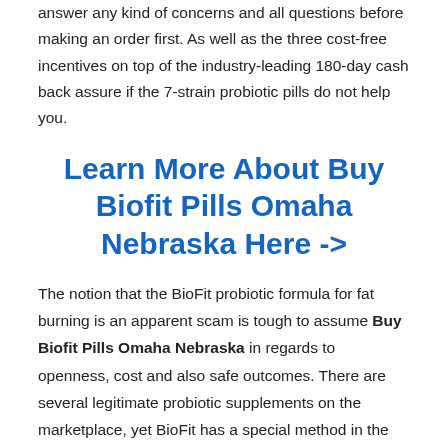answer any kind of concerns and all questions before making an order first. As well as the three cost-free incentives on top of the industry-leading 180-day cash back assure if the 7-strain probiotic pills do not help you.
Learn More About Buy Biofit Pills Omaha Nebraska Here ->
The notion that the BioFit probiotic formula for fat burning is an apparent scam is tough to assume Buy Biofit Pills Omaha Nebraska in regards to openness, cost and also safe outcomes. There are several legitimate probiotic supplements on the marketplace, yet BioFit has a special method in the direction of accommodating anti-obesity residential properties as a result of the components made to interfere with gastrointestinal disruptions that plague those that experience unhealthy consuming routines, medicines with adverse effects or excess gas and stubborn belly bloat. As the claiming goes, private results will vary when making